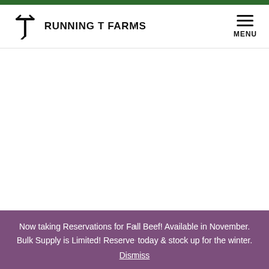[Figure (logo): Running T Farms logo with stylized T icon and text RUNNING T FARMS]
Now taking Reservations for Fall Beef! Available in November. Bulk Supply is Limited! Reserve today & stock up for the winter. Dismiss